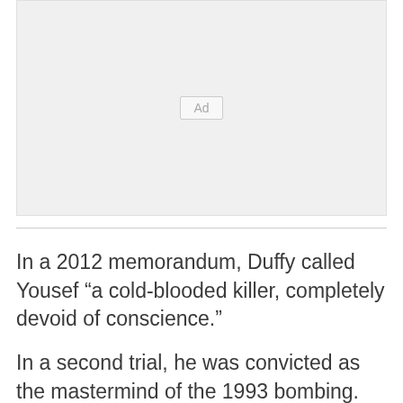[Figure (other): Advertisement placeholder box with 'Ad' label in center]
In a 2012 memorandum, Duffy called Yousef “a cold-blooded killer, completely devoid of conscience.”
In a second trial, he was convicted as the mastermind of the 1993 bombing. Now 52, he is serving a life prison term. His uncle, Khalid